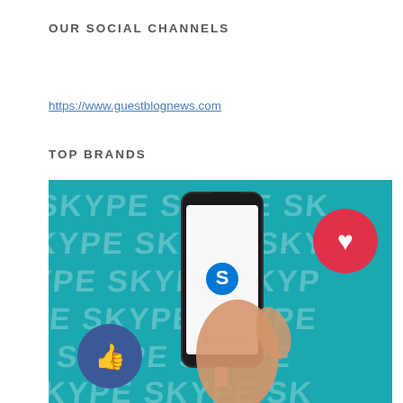OUR SOCIAL CHANNELS
https://www.guestblognews.com
TOP BRANDS
[Figure (photo): A hand holding a smartphone displaying the Skype app logo, against a teal background with repeating SKYPE text. A red heart reaction icon is in the top right and a blue Facebook thumbs-up icon is in the bottom left.]